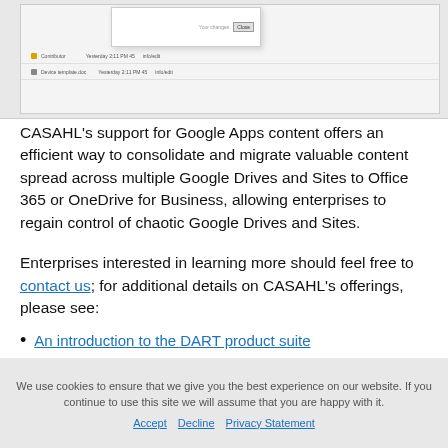[Figure (screenshot): Screenshot of a file browser or document manager interface showing a dialog box with a close button and file rows with dates and sizes listed.]
CASAHL's support for Google Apps content offers an efficient way to consolidate and migrate valuable content spread across multiple Google Drives and Sites to Office 365 or OneDrive for Business, allowing enterprises to regain control of chaotic Google Drives and Sites.
Enterprises interested in learning more should feel free to contact us; for additional details on CASAHL's offerings, please see:
An introduction to the DART product suite
A list of CASAHL's supported systems
An overview of CASAHL service offerings
We use cookies to ensure that we give you the best experience on our website. If you continue to use this site we will assume that you are happy with it. Accept Decline Privacy Statement